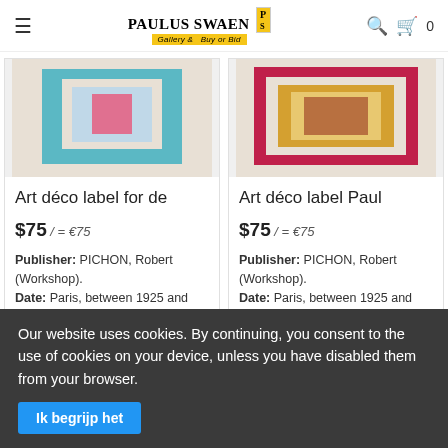Paulus Swaen Gallery & Buy or Bid
[Figure (photo): Art deco label product image, blue/teal color on beige background]
Art déco label for de
$75 / = €75
Publisher: PICHON, Robert (Workshop). Date: Paris, between 1925 and 1930
[Figure (photo): Art deco label product image, red/pink design on beige background]
Art déco label Paul
$75 / = €75
Publisher: PICHON, Robert (Workshop). Date: Paris, between 1925 and 1930
Our website uses cookies. By continuing, you consent to the use of cookies on your device, unless you have disabled them from your browser.